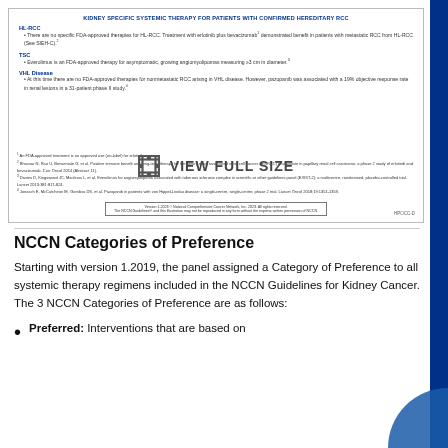[Figure (other): Document panel showing kidney-specific systemic therapy guidelines with sections for HL-RCC, TSC, and VHL Disease with footnotes and copyright notice, plus a 'VIEW FULL SIZE' label]
NCCN Categories of Preference
Starting with version 1.2019, the panel assigned a Category of Preference to all systemic therapy regimens included in the NCCN Guidelines for Kidney Cancer. The 3 NCCN Categories of Preference are as follows:
Preferred: Interventions that are based on